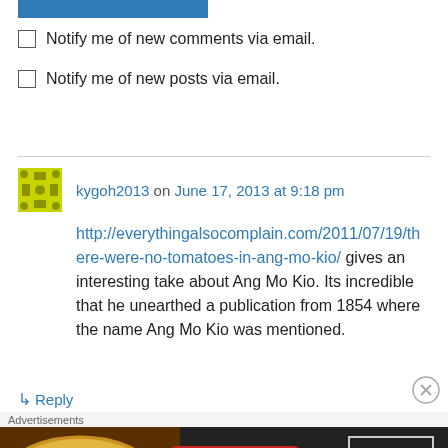[Figure (other): Blue horizontal bar at top]
Notify me of new comments via email.
Notify me of new posts via email.
kygoh2013 on June 17, 2013 at 9:18 pm
http://everythingalsocomplain.com/2011/07/19/there-were-no-tomatoes-in-ang-mo-kio/ gives an interesting take about Ang Mo Kio. Its incredible that he unearthed a publication from 1854 where the name Ang Mo Kio was mentioned.
↳ Reply
Advertisements
[Figure (photo): Seamless food delivery advertisement banner showing pizza, Seamless logo, and ORDER NOW button]